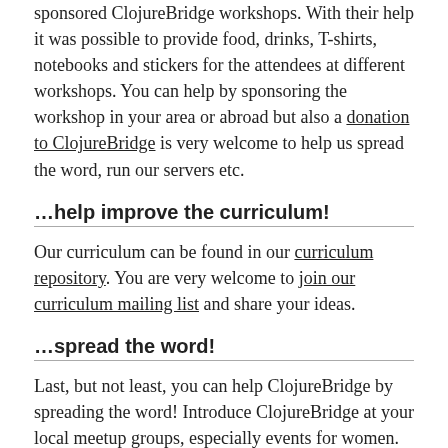sponsored ClojureBridge workshops. With their help it was possible to provide food, drinks, T-shirts, notebooks and stickers for the attendees at different workshops. You can help by sponsoring the workshop in your area or abroad but also a donation to ClojureBridge is very welcome to help us spread the word, run our servers etc.
…help improve the curriculum!
Our curriculum can be found in our curriculum repository. You are very welcome to join our curriculum mailing list and share your ideas.
…spread the word!
Last, but not least, you can help ClojureBridge by spreading the word! Introduce ClojureBridge at your local meetup groups, especially events for women.